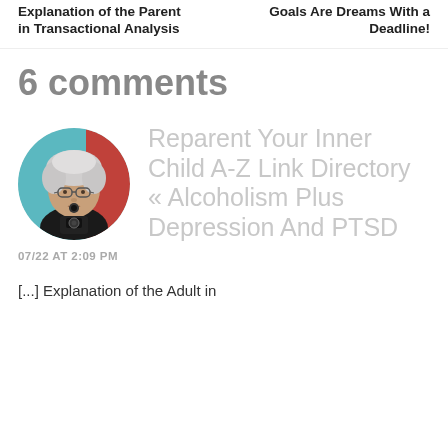Explanation of the Parent in Transactional Analysis | Goals Are Dreams With a Deadline!
6 comments
[Figure (photo): Circular avatar photo of an older woman with white/grey curly hair, wearing glasses and a dark top, holding a camera, against a teal/red background]
Reparent Your Inner Child A-Z Link Directory « Alcoholism Plus Depression And PTSD
07/22 AT 2:09 PM
[...] Explanation of the Adult in